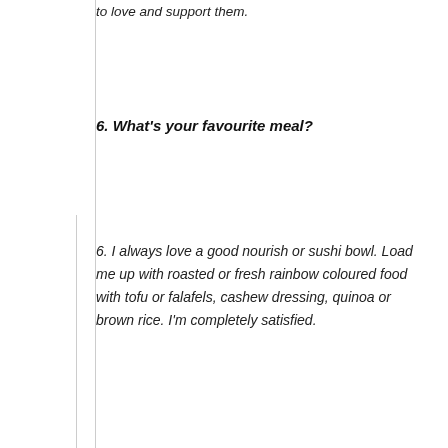to love and support them.
6. What's your favourite meal?
6. I always love a good nourish or sushi bowl. Load me up with roasted or fresh rainbow coloured food with tofu or falafels, cashew dressing, quinoa or brown rice. I'm completely satisfied.